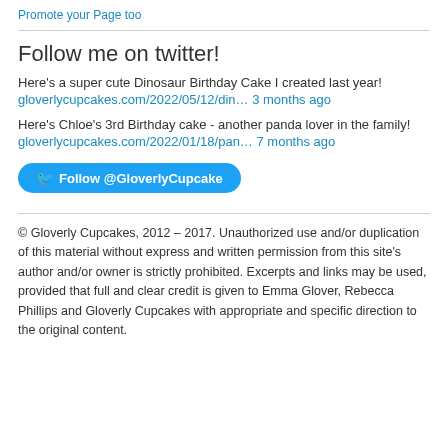Promote your Page too
Follow me on twitter!
Here's a super cute Dinosaur Birthday Cake I created last year!
gloverlycupcakes.com/2022/05/12/din… 3 months ago
Here's Chloe's 3rd Birthday cake - another panda lover in the family!
gloverlycupcakes.com/2022/01/18/pan… 7 months ago
Follow @GloverlyCupcake
© Gloverly Cupcakes, 2012 – 2017. Unauthorized use and/or duplication of this material without express and written permission from this site's author and/or owner is strictly prohibited. Excerpts and links may be used, provided that full and clear credit is given to Emma Glover, Rebecca Phillips and Gloverly Cupcakes with appropriate and specific direction to the original content.